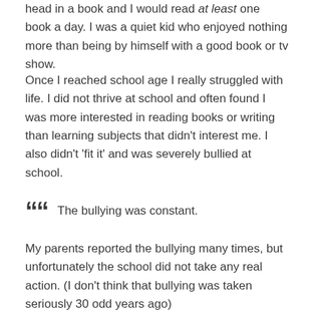head in a book and I would read at least one book a day. I was a quiet kid who enjoyed nothing more than being by himself with a good book or tv show.
Once I reached school age I really struggled with life. I did not thrive at school and often found I was more interested in reading books or writing than learning subjects that didn't interest me. I also didn't 'fit it' and was severely bullied at school.
The bullying was constant.
My parents reported the bullying many times, but unfortunately the school did not take any real action. (I don't think that bullying was taken seriously 30 odd years ago)